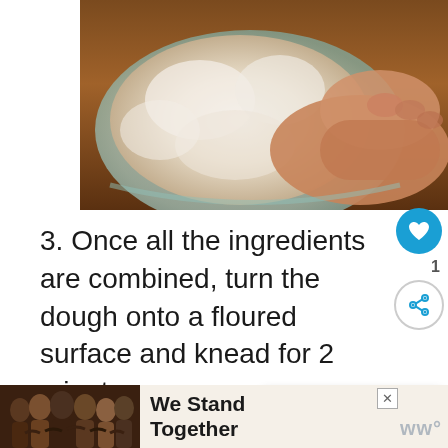[Figure (photo): Hands mixing flour and dough ingredients in a bowl, seen from above on a wooden surface]
3. Once all the ingredients are combined, turn the dough onto a floured surface and knead for 2 minutes.
[Figure (photo): Floured wooden surface with dough being kneaded, with a 'What's Next' callout bubble showing Fakeaway: Doner Keba...]
[Figure (photo): Advertisement banner: We Stand Together with a group photo of people with arms around each other]